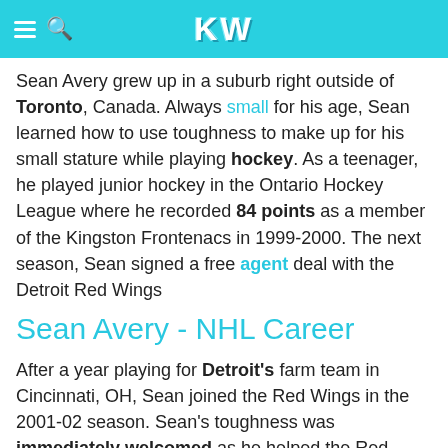KW
Sean Avery grew up in a suburb right outside of Toronto, Canada. Always small for his age, Sean learned how to use toughness to make up for his small stature while playing hockey. As a teenager, he played junior hockey in the Ontario Hockey League where he recorded 84 points as a member of the Kingston Frontenacs in 1999-2000. The next season, Sean signed a free agent deal with the Detroit Red Wings
Sean Avery - NHL Career
After a year playing for Detroit's farm team in Cincinnati, OH, Sean joined the Red Wings in the 2001-02 season. Sean's toughness was immediately welcomed as he helped the Red Wings win the Stanley Cup in his rookie year. In 2003, he was traded to the Los Angeles Kings where he continued his gritty play. In his first season in L.A., Sean led the league in penalty minutes. Although he spent a lot of time in the penalty box, he still managed